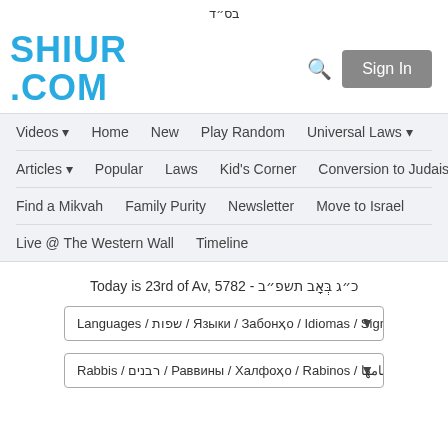בס״ד
SHIUR.COM
Videos ▾  Home  New  Play Random  Universal Laws ▾  Articles ▾  Popular  Laws  Kid's Corner  Conversion to Judaism  Find a Mikvah  Family Purity  Newsletter  Move to Israel  Live @ The Western Wall  Timeline
Today is 23rd of Av, 5782 - כ״ג בְּאָב תשפ״ב
Languages / שפות / Языки / Забонҳо / Idiomas / Sign ▾
Rabbis / רבנים / Раввины / Халфоҳо / Rabinos / خاخامها ▾